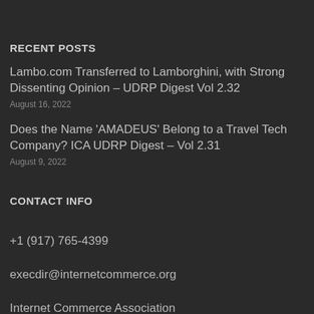RECENT POSTS
Lambo.com Transferred to Lamborghini, with Strong Dissenting Opinion – UDRP Digest Vol 2.32
August 16, 2022
Does the Name 'AMADEUS' Belong to a Travel Tech Company? ICA UDRP Digest – Vol 2.31
August 9, 2022
CONTACT INFO
+1 (917) 765-4399
execdir@internetcommerce.org
Internet Commerce Association